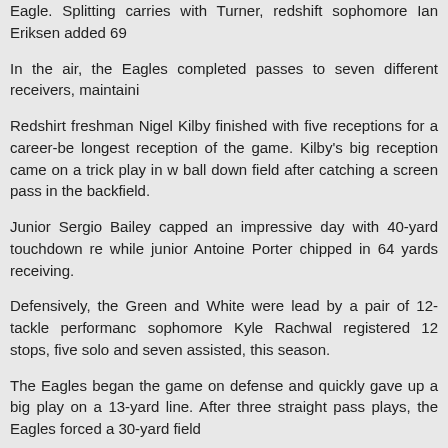Eagle. Splitting carries with Turner, redshift sophomore Ian Eriksen added 69
In the air, the Eagles completed passes to seven different receivers, maintaini
Redshirt freshman Nigel Kilby finished with five receptions for a career-be longest reception of the game. Kilby's big reception came on a trick play in w ball down field after catching a screen pass in the backfield.
Junior Sergio Bailey capped an impressive day with 40-yard touchdown re while junior Antoine Porter chipped in 64 yards receiving.
Defensively, the Green and White were lead by a pair of 12-tackle performanc sophomore Kyle Rachwal registered 12 stops, five solo and seven assisted, this season.
The Eagles began the game on defense and quickly gave up a big play on a 13-yard line. After three straight pass plays, the Eagles forced a 30-yard field
After trading possessions, EMU began its second drive from its own 17. On a and hung in the air, only to be intercepted by BGSU at the 31, setting the Falc
The Falcons ended up with first and goal from the two, where three straight ru fourth and goal. BGSU then ran a play fake, and completed a short pass for a